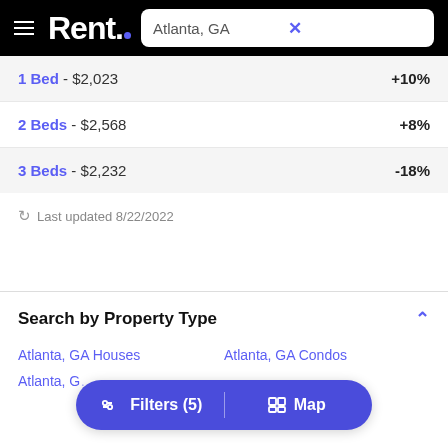Rent. — Atlanta, GA
| Type | Price | Change |
| --- | --- | --- |
| 1 Bed | $2,023 | +10% |
| 2 Beds | $2,568 | +8% |
| 3 Beds | $2,232 | -18% |
Last updated 8/22/2022
Search by Property Type
Atlanta, GA Houses
Atlanta, GA Condos
Atlanta, G…
Filters (5)   |   Map